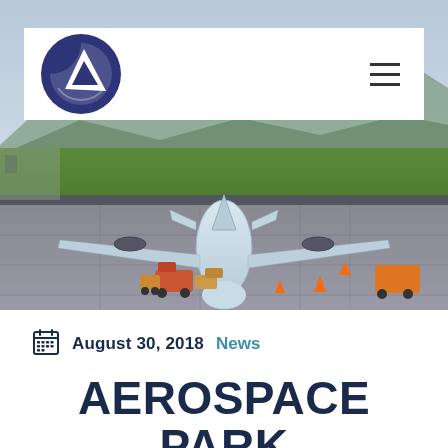[Figure (photo): Aerial view of an airplane on an airport tarmac, seen from rear, with ground support vehicles and equipment around it. Green fields and mountains visible in the background under a dusk sky.]
Logo and navigation bar with hamburger menu icon
August 30, 2018  News
AEROSPACE PARK